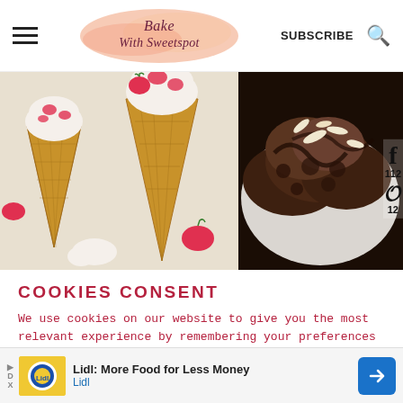Bake With Sweetspot | SUBSCRIBE
[Figure (photo): Two photos side by side: left shows waffle ice cream cones with strawberries on white paper; right shows chocolate almond ice cream on a white plate. Social sharing icons (Facebook 112, Pinterest 12) on the right edge.]
COOKIES CONSENT
We use cookies on our website to give you the most relevant experience by remembering your preferences and repeat visits. By clicking “Yes”, you consent to the use of ALL the cookies.
[Figure (photo): Advertisement banner: Lidl: More Food for Less Money - Lidl logo and blue arrow icon]